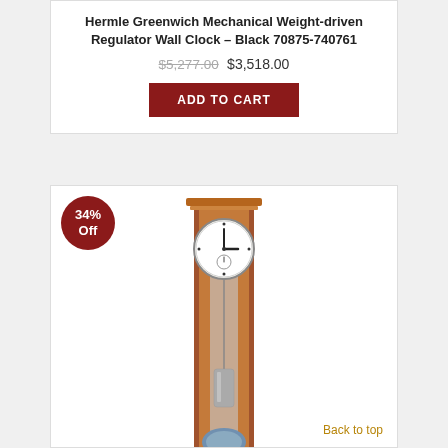Hermle Greenwich Mechanical Weight-driven Regulator Wall Clock – Black 70875-740761
$5,277.00 $3,518.00
ADD TO CART
[Figure (photo): Hermle Greenwich Mechanical Weight-driven Regulator Wall Clock in cherry/walnut finish, tall narrow pendulum case with circular clock face at top]
34% Off
Back to top